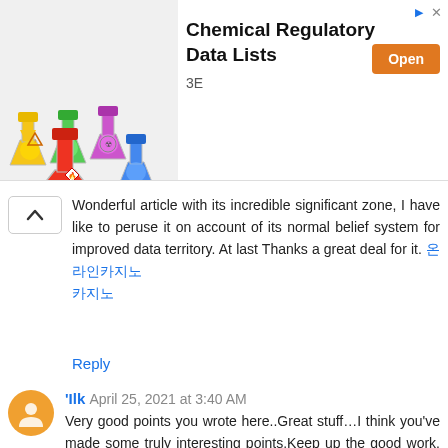[Figure (infographic): Advertisement banner for Chemical Regulatory Data Lists by 3E with colorful chemical flasks image on left, title text and orange Open button on right]
Wonderful article with its incredible significant zone, I have like to peruse it on account of its normal belief system for improved data territory. At last Thanks a great deal for it. 온라인카지노
Reply
'Ilk April 25, 2021 at 3:40 AM
Very good points you wrote here..Great stuff…I think you've made some truly interesting points.Keep up the good work. 바카라사이트
Reply
Roman April 25, 2021 at 4:42 AM
I read this article. I think You put a great deal of exertion to